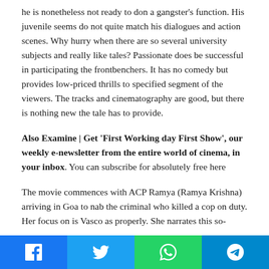he is nonetheless not ready to don a gangster's function. His juvenile seems do not quite match his dialogues and action scenes. Why hurry when there are so several university subjects and really like tales? Passionate does be successful in participating the frontbenchers. It has no comedy but provides low-priced thrills to specified segment of the viewers. The tracks and cinematography are good, but there is nothing new the tale has to provide.
Also Examine | Get 'First Working day First Show', our weekly e-newsletter from the entire world of cinema, in your inbox. You can subscribe for absolutely free here
The movie commences with ACP Ramya (Ramya Krishna) arriving in Goa to nab the criminal who killed a cop on duty. Her focus on is Vasco as properly. She narrates this so-
[Figure (other): Social sharing bar with Facebook, Twitter, WhatsApp, and Telegram icons]